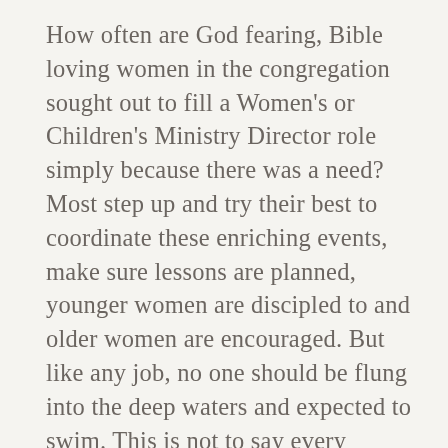How often are God fearing, Bible loving women in the congregation sought out to fill a Women's or Children's Ministry Director role simply because there was a need? Most step up and try their best to coordinate these enriching events, make sure lessons are planned, younger women are discipled to and older women are encouraged. But like any job, no one should be flung into the deep waters and expected to swim. This is not to say every women ought to have a Masters in Divinity or Biblical Studies in order to serve, but it does expose that we as a church have seriously neglected teaching and building up women leaders.

I recently attended a women's conference that